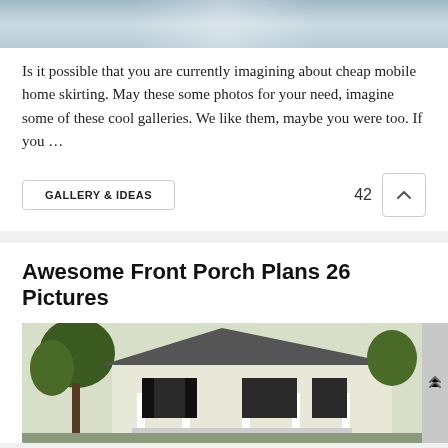[Figure (photo): Partial photo of a mobile home with white skirting, top portion visible]
Is it possible that you are currently imagining about cheap mobile home skirting. May these some photos for your need, imagine some of these cool galleries. We like them, maybe you were too. If you …
GALLERY & IDEAS   42  ^
Awesome Front Porch Plans 26 Pictures
[Figure (photo): Photo of a house with a front porch, white columns, green trees, white siding, black shutters]